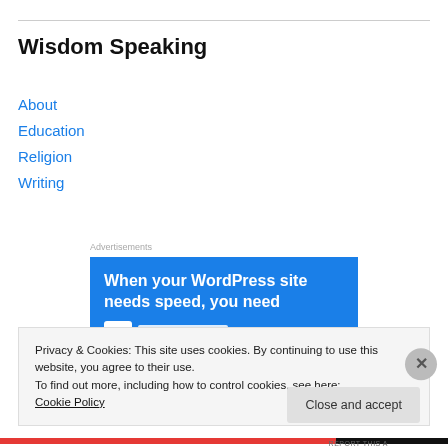Wisdom Speaking
About
Education
Religion
Writing
[Figure (screenshot): Blue advertisement banner with white bold text: 'When your WordPress site needs speed, you need' with partial logo below]
Privacy & Cookies: This site uses cookies. By continuing to use this website, you agree to their use.
To find out more, including how to control cookies, see here: Cookie Policy
Close and accept